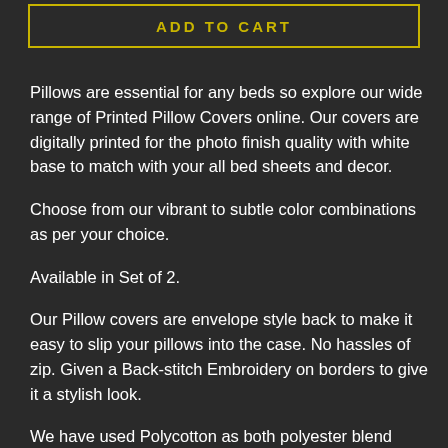ADD TO CART
Pillows are essential for any beds so explore our wide range of Printed Pillow Covers online. Our covers are digitally printed for the photo finish quality with white base to match with your all bed sheets and decor.
Choose from our vibrant to subtle color combinations as per your choice.
Available in Set of 2.
Our Pillow covers are envelope style back to make it easy to slip your pillows into the case. No hassles of zip. Given a Back-stitch Embroidery on borders to give it a stylish look.
We have used Polycotton as both polyester blend pillowcases and